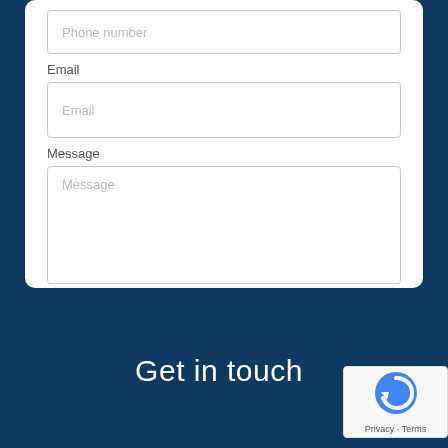Phone number
Email
Email
Message
Message
Send enquiry
Get in touch
[Figure (logo): reCAPTCHA badge with circular arrow icon and Privacy - Terms text]